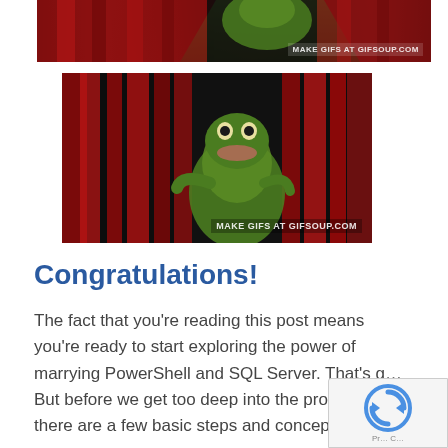[Figure (photo): Top portion of an animated GIF showing Kermit the Frog with red curtains in the background. Watermark reads MAKE GIFS AT GIFSOUP.COM]
[Figure (photo): Animated GIF showing Kermit the Frog parting red stage curtains from behind in a dark setting. Watermark reads MAKE GIFS AT GIFSOUP.COM]
Congratulations!
The fact that you’re reading this post means you’re ready to start exploring the power of marrying PowerShell and SQL Server. That’s g… But before we get too deep into the process, there are a few basic steps and concepts you ne…